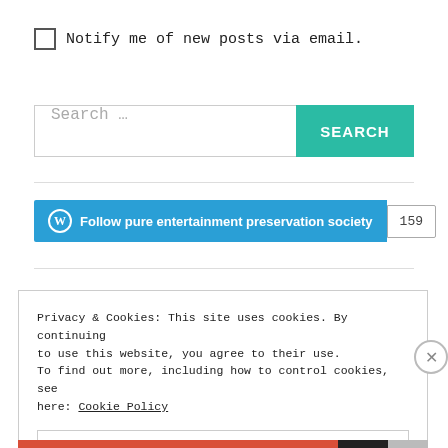Notify me of new posts via email.
[Figure (screenshot): Search input field with 'Search ...' placeholder and a teal 'SEARCH' button]
[Figure (screenshot): WordPress Follow button reading 'Follow pure entertainment preservation society' with follower count badge showing 159]
Privacy & Cookies: This site uses cookies. By continuing to use this website, you agree to their use. To find out more, including how to control cookies, see here: Cookie Policy
Close and accept